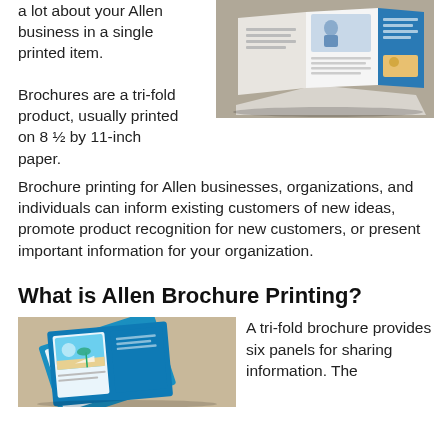a lot about your Allen business in a single printed item.
Brochures are a tri-fold product, usually printed on 8 ½ by 11-inch paper.
[Figure (photo): Open tri-fold brochure with blue panels lying on a surface, showing printed content inside.]
Brochure printing for Allen businesses, organizations, and individuals can inform existing customers of new ideas, promote product recognition for new customers, or present important information for your organization.
What is Allen Brochure Printing?
[Figure (photo): Stack of colorful tri-fold brochures with tropical imagery fanned out on a surface.]
A tri-fold brochure provides six panels for sharing information. The